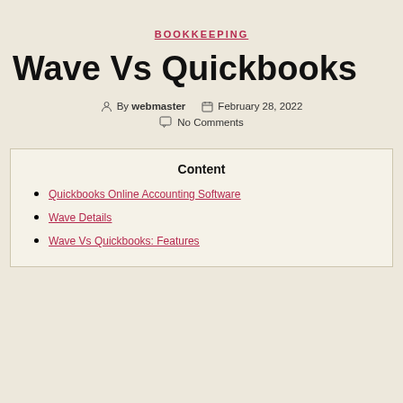BOOKKEEPING
Wave Vs Quickbooks
By webmaster   February 28, 2022
No Comments
Content
Quickbooks Online Accounting Software
Wave Details
Wave Vs Quickbooks: Features